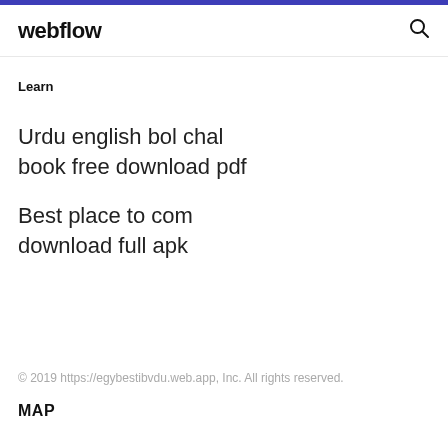webflow
Learn
Urdu english bol chal book free download pdf
Best place to com download full apk
© 2019 https://egybestibvdu.web.app, Inc. All rights reserved.
MAP